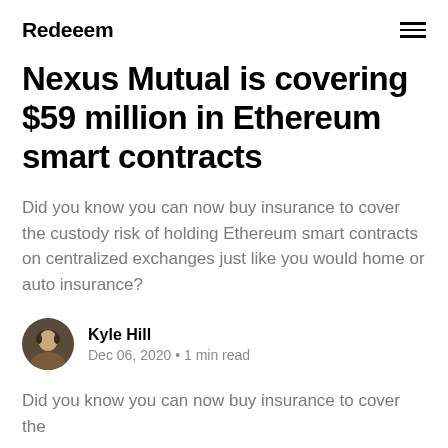Redeeem
Nexus Mutual is covering $59 million in Ethereum smart contracts
Did you know you can now buy insurance to cover the custody risk of holding Ethereum smart contracts on centralized exchanges just like you would home or auto insurance?
Kyle Hill
Dec 06, 2020 • 1 min read
Did you know you can now buy insurance to cover the